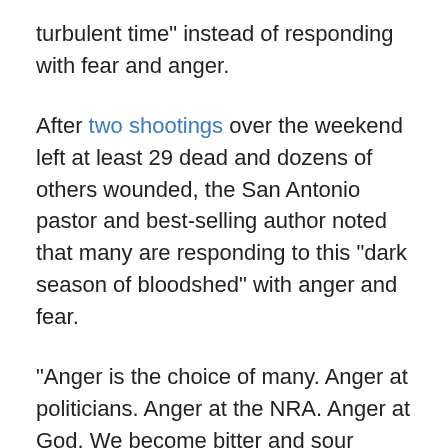turbulent time" instead of responding with fear and anger.
After two shootings over the weekend left at least 29 dead and dozens of others wounded, the San Antonio pastor and best-selling author noted that many are responding to this "dark season of bloodshed" with anger and fear.
"Anger is the choice of many. Anger at politicians. Anger at the NRA. Anger at God. We become bitter and sour toward this world; toward one another," Lucado wrote in an op-ed for Fox News. "Fear is another option. Lock the doors and close the windows. Avoid every shadow and dark alley."